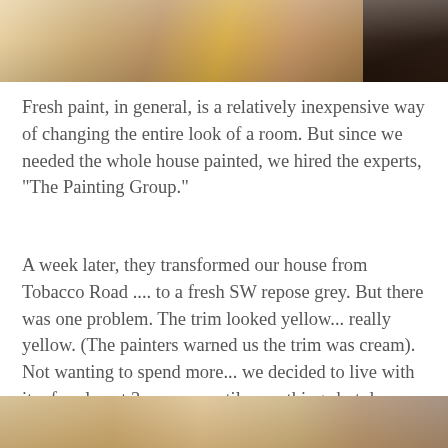[Figure (photo): Photo of a hardwood floor with warm brown tones and a dark element in the upper right corner]
Fresh paint, in general, is a relatively inexpensive way of changing the entire look of a room. But since we needed the whole house painted, we hired the experts, "The Painting Group."
A week later, they transformed our house from Tobacco Road .... to a fresh SW repose grey. But there was one problem. The trim looked yellow... really yellow. (The painters warned us the trim was cream). Not wanting to spend more... we decided to live with it... for almost 3 years.... until everything shut down because of Covid 19 and I decided to tackle it myself. Months later, and many mistakes with oil and water-based paint, our trim is now a beautiful SW Pure White.
[Figure (photo): Partial photo visible at bottom of page showing a room interior]